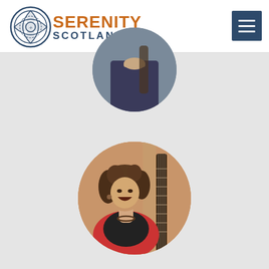Serenity Scotland — navigation header with logo and hamburger menu
[Figure (photo): Circular cropped photo of a musician (partially visible, dark clothing, appears to be playing an instrument), positioned at top center of the grey content area]
[Figure (photo): Circular cropped photo of a woman with curly brown hair, smiling, wearing a red cardigan over black top with a necklace, with a guitar neck visible in the background. Warm indoor lighting.]